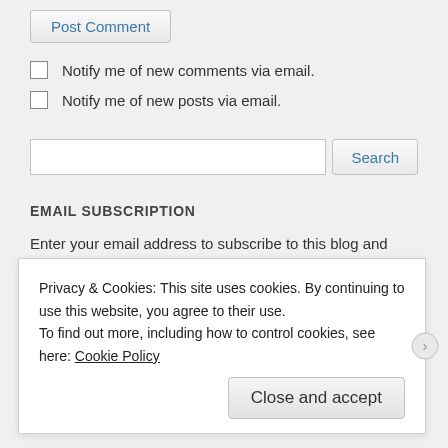Post Comment
Notify me of new comments via email.
Notify me of new posts via email.
[Figure (screenshot): Search input box with Search button]
EMAIL SUBSCRIPTION
Enter your email address to subscribe to this blog and receive
Privacy & Cookies: This site uses cookies. By continuing to use this website, you agree to their use.
To find out more, including how to control cookies, see here: Cookie Policy
Close and accept